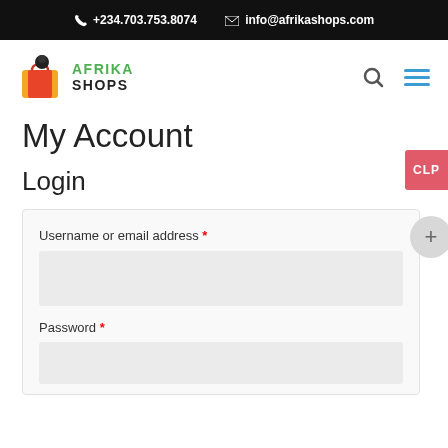+234.703.753.8074  info@afrikashops.com
[Figure (logo): Afrika Shops logo with shopping bags icon and green AFRIKA / dark SHOPS text]
My Account
Login
Username or email address *
Password *